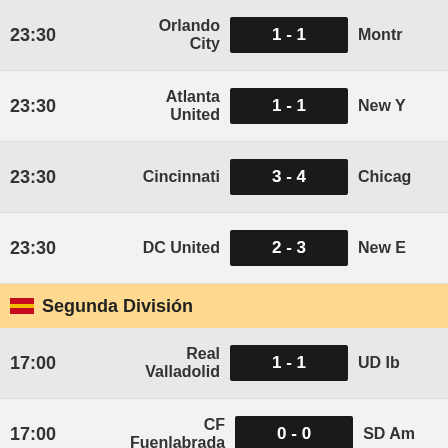| Time | Home | Score | Away |
| --- | --- | --- | --- |
| 23:30 | Orlando City | 1 - 1 | Montr... |
| 23:30 | Atlanta United | 1 - 1 | New Y... |
| 23:30 | Cincinnati | 3 - 4 | Chicag... |
| 23:30 | DC United | 2 - 3 | New E... |
Segunda División
| Time | Home | Score | Away |
| --- | --- | --- | --- |
| 17:00 | Real Valladolid | 1 - 1 | UD Ib... |
| 17:00 | CF Fuenlabrada | 0 - 0 | SD Am... |
| 19:00 | CD Lugo | 2 - 0 | Las Pa... |